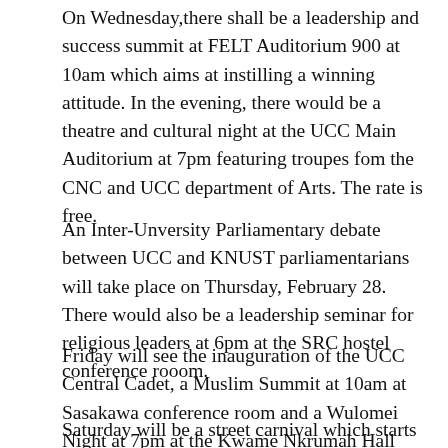On Wednesday,there shall be a leadership and success summit at FELT Auditorium 900 at 10am which aims at instilling a winning attitude. In the evening, there would be a theatre and cultural night at the UCC Main Auditorium at 7pm featuring troupes fom the CNC and UCC department of Arts. The rate is free.
An Inter-Unversity Parliamentary debate between UCC and KNUST parliamentarians will take place on Thursday, February 28. There would also be a leadership seminar for religious leaders at 6pm at the SRC hostel conference rooom.
Friday will see the inauguration of the UCC Central Cadet, a Muslim Summit at 10am at Sasakawa conference room and a Wulomei Night at 7pm at the Kwame Nkrumah Hall forecourt.
Saturday will be a street carnival which starts at 8pm at